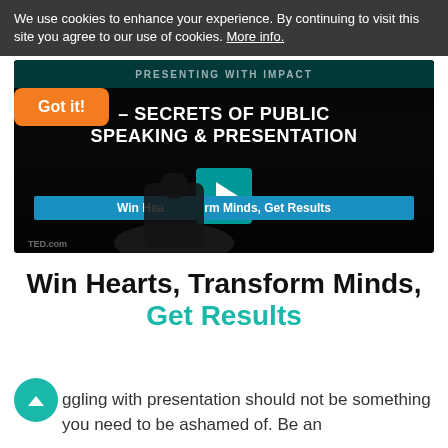We use cookies to enhance your experience. By continuing to visit this site you agree to our use of cookies. More info.
[Figure (screenshot): Video thumbnail for 'Presenting with Impact – Secrets of Public Speaking & Presentation' course, showing a presenter on a dark stage with play button overlay and subtitle 'Win Hearts, Transform Minds, Get Results']
Win Hearts, Transform Minds, Get Results
Struggling with presentation should not be something you need to be ashamed of. Be an